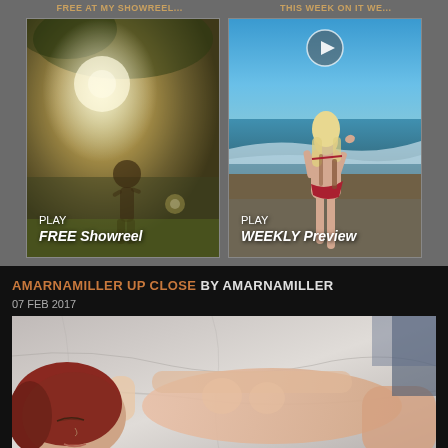FREE AT MY SHOWREEL... | THIS WEEK ON IT WE...
[Figure (photo): Left thumbnail: artistic outdoor photo with sunlight and figure dancing, overlaid with text PLAY FREE Showreel]
[Figure (photo): Right thumbnail: woman in red bikini at beach/ocean, with play button icon overlay and text PLAY WEEKLY Preview]
AMARNAMILLER UP CLOSE BY AMARNAMILLER
07 FEB 2017
[Figure (photo): Main article image: woman with red hair lying on white bedding, artistic nude photography]